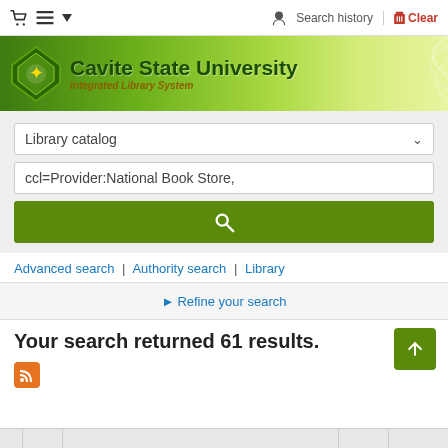Search history | Clear
[Figure (logo): Cavite State University Integrated Library System banner with green logo and gradient background]
Library catalog
ccl=Provider:National Book Store,
Advanced search | Authority search | Library
▶ Refine your search
Your search returned 61 results.
[Figure (other): RSS feed icon (orange square with RSS symbol)]
| # | Cover | Title | Number | Actions |
| --- | --- | --- | --- | --- |